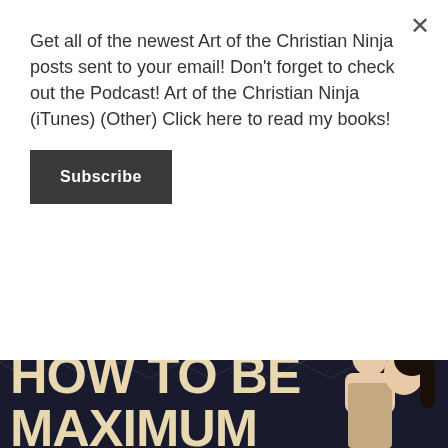Get all of the newest Art of the Christian Ninja posts sent to your email! Don't forget to check out the Podcast! Art of the Christian Ninja (iTunes) (Other) Click here to read my books!
Subscribe
Someone is causing A.I. Robots to disappear from the subway. We play a detective trying to figure out whodunit! There are lots of characters, great dialogue, funny bits, and a [...]
POSTED ON 2 MONTHS AGO
[Figure (illustration): Book cover or graphic with dark navy/black background with geometric pattern, featuring large cream/beige bold text reading 'HOW TO BE MAXIMUM' and an illustrated couple in vintage comic style on the right side]